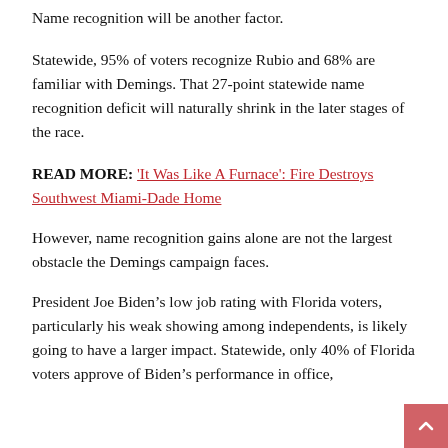Name recognition will be another factor.
Statewide, 95% of voters recognize Rubio and 68% are familiar with Demings. That 27-point statewide name recognition deficit will naturally shrink in the later stages of the race.
READ MORE: ‘It Was Like A Furnace’: Fire Destroys Southwest Miami-Dade Home
However, name recognition gains alone are not the largest obstacle the Demings campaign faces.
President Joe Biden’s low job rating with Florida voters, particularly his weak showing among independents, is likely going to have a larger impact. Statewide, only 40% of Florida voters approve of Biden’s performance in office,